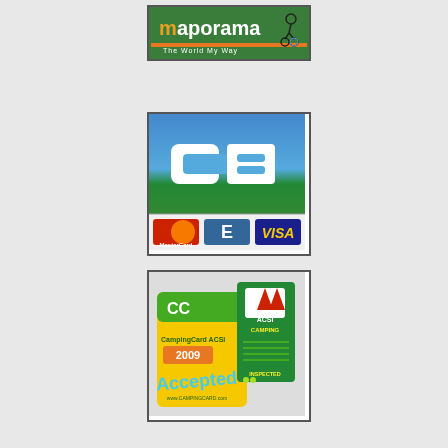[Figure (logo): Maporama logo: green background with orange and white 'maporama' text and tagline 'The World My Way' in white, with a cycling figure icon]
[Figure (logo): CB (Carte Bleue) payment logo: blue-to-green gradient card with large white CB letters, and smaller MasterCard, Eurocard, and Visa logos at bottom]
[Figure (logo): ACSI CampingCard 2009 Accepted logo: green and yellow card design with 'CampingCard ACSI 2009 Accepted' text and www.CAMPINGCARD.com URL, alongside ACSI Camping Inspected guide]